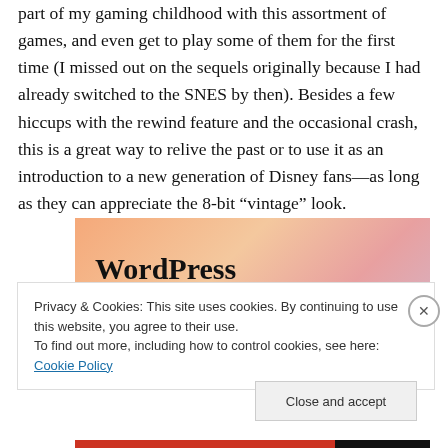part of my gaming childhood with this assortment of games, and even get to play some of them for the first time (I missed out on the sequels originally because I had already switched to the SNES by then). Besides a few hiccups with the rewind feature and the occasional crash, this is a great way to relive the past or to use it as an introduction to a new generation of Disney fans—as long as they can appreciate the 8-bit “vintage” look.
[Figure (illustration): Advertisement banner with peach/pink gradient background showing text 'WordPress in the back.' in bold serif font]
Privacy & Cookies: This site uses cookies. By continuing to use this website, you agree to their use.
To find out more, including how to control cookies, see here: Cookie Policy
Close and accept